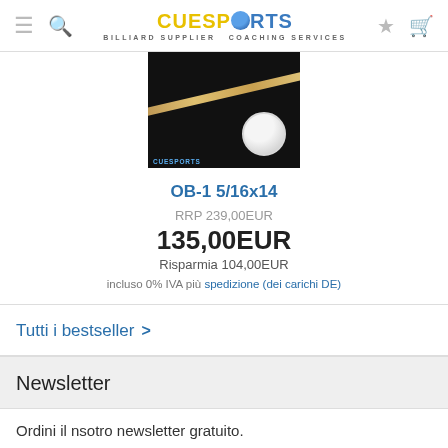CueSports — BILLIARD SUPPLIER COACHING SERVICES
[Figure (photo): Product photo of a billiard cue stick on dark background with CueSports logo badge]
OB-1 5/16x14
RRP 239,00EUR
135,00EUR
Risparmia 104,00EUR
incluso 0% IVA più spedizione (dei carichi DE)
Tutti i bestseller >
Newsletter
Ordini il nsotro newsletter gratuito.